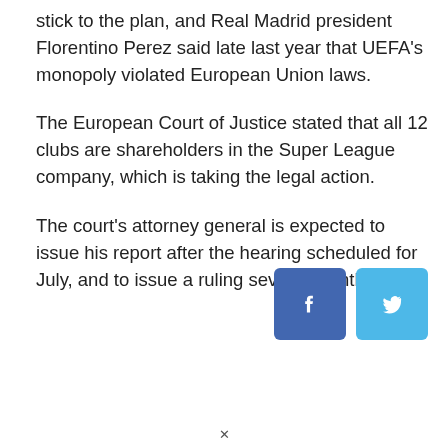stick to the plan, and Real Madrid president Florentino Perez said late last year that UEFA's monopoly violated European Union laws.
The European Court of Justice stated that all 12 clubs are shareholders in the Super League company, which is taking the legal action.
The court's attorney general is expected to issue his report after the hearing scheduled for July, and to issue a ruling several months later.
[Figure (other): Social media share buttons: Facebook (blue square with 'f' icon) and Twitter (light blue square with bird icon)]